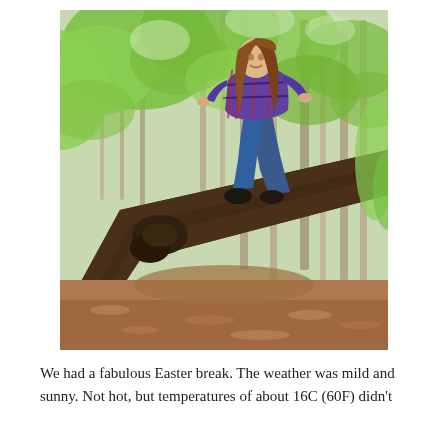[Figure (photo): A young girl with long brown hair, wearing a blue and red plaid shirt and blue jeans, sitting on a large diagonal tree trunk in a green woodland forest. The forest background shows tall beech trees with bright green spring leaves and a ground covered in brown leaf litter.]
We had a fabulous Easter break. The weather was mild and sunny. Not hot, but temperatures of about 16C (60F) didn't